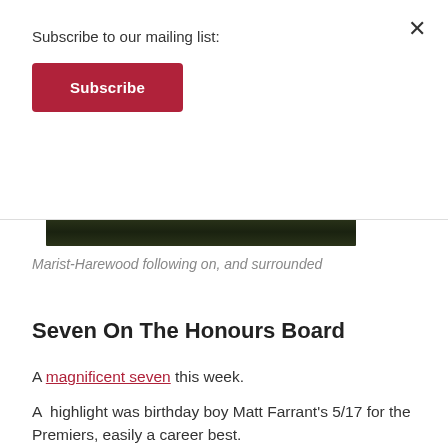Subscribe to our mailing list:
Subscribe
×
[Figure (photo): Dark green/brown image strip, partial view of an outdoor scene]
Marist-Harewood following on, and surrounded
Seven On The Honours Board
A magnificent seven this week.
A  highlight was birthday boy Matt Farrant's 5/17 for the Premiers, easily a career best.